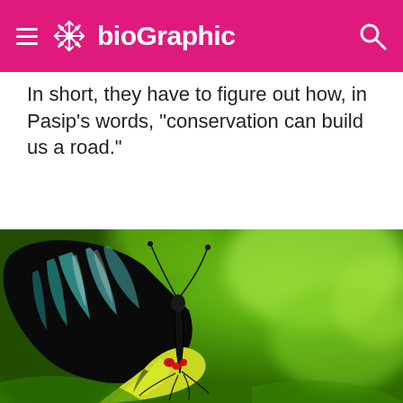bioGraphic
In short, they have to figure out how, in Pasip’s words, “conservation can build us a road.”
[Figure (photo): Close-up photograph of a large black butterfly with teal/white wing patterns and yellow-green hindwing markings, perched on green foliage. The butterfly appears to be a Birdwing species. The background is blurred green bokeh.]